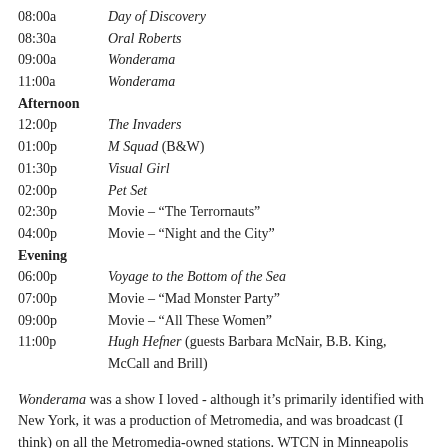08:00a  Day of Discovery
08:30a  Oral Roberts
09:00a  Wonderama
11:00a  Wonderama
Afternoon
12:00p  The Invaders
01:00p  M Squad (B&W)
01:30p  Visual Girl
02:00p  Pet Set
02:30p  Movie – “The Terrornauts”
04:00p  Movie – “Night and the City”
Evening
06:00p  Voyage to the Bottom of the Sea
07:00p  Movie – “Mad Monster Party”
09:00p  Movie – “All These Women”
11:00p  Hugh Hefner (guests Barbara McNair, B.B. King, McCall and Brill)
Wonderama was a show I loved - although it’s primarily identified with New York, it was a production of Metromedia, and was broadcast (I think) on all the Metromedia-owned stations. WTCN in Minneapolis was one such station; thus,